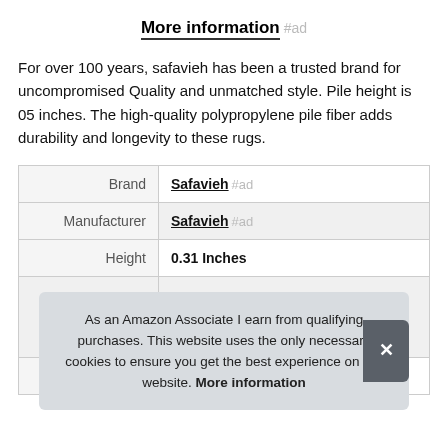More information #ad
For over 100 years, safavieh has been a trusted brand for uncompromised Quality and unmatched style. Pile height is 05 inches. The high-quality polypropylene pile fiber adds durability and longevity to these rugs.
| Label | Value |
| --- | --- |
| Brand | Safavieh #ad |
| Manufacturer | Safavieh #ad |
| Height | 0.31 Inches |
| Part Number | RFT664A-6 |
As an Amazon Associate I earn from qualifying purchases. This website uses the only necessary cookies to ensure you get the best experience on our website. More information